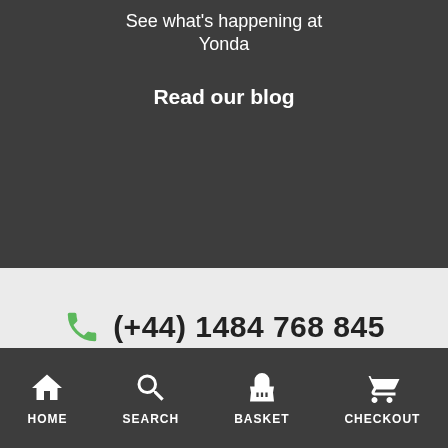See what's happening at Yonda
Read our blog
(+44) 1484 768 845
[Figure (screenshot): Size? badge with ruler icon overlay on left side]
Email Address
SUBSCRIBE
HOME   SEARCH   BASKET   CHECKOUT